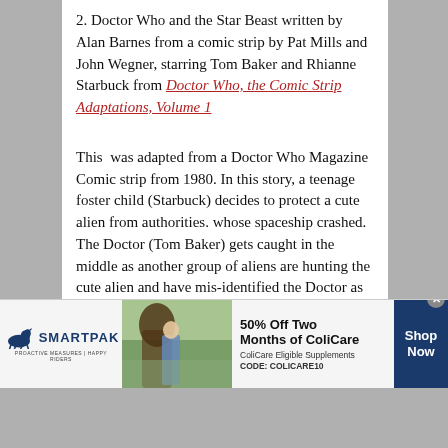2. Doctor Who and the Star Beast written by Alan Barnes from a comic strip by Pat Mills and John Wegner, starring Tom Baker and Rhianne Starbuck from Doctor Who, the Comic Strip Adaptations, Volume 1
This  was adapted from a Doctor Who Magazine Comic strip from 1980. In this story, a teenage foster child (Starbuck) decides to protect a cute alien from authorities. whose spaceship crashed. The Doctor (Tom Baker) gets caught in the middle as another group of aliens are hunting the cute alien and have mis-identified the Doctor as an accomplice. However, another wrinkle is thrown
[Figure (infographic): SmartPak advertisement banner showing 50% Off Two Months of ColiCare promotion with horse and rider photo, SmartPak logo, Shop Now button. CODE: COLICARE10]